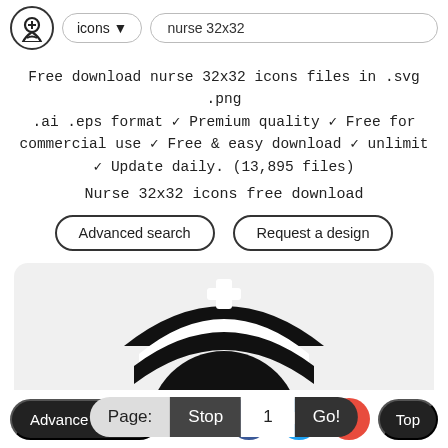icons ▼  nurse 32x32
Free download nurse 32x32 icons files in .svg .png .ai .eps format ✓ Premium quality ✓ Free for commercial use ✓ Free & easy download ✓ unlimit ✓ Update daily. (13,895 files)
Nurse 32x32 icons free download
Advanced search
Request a design
[Figure (illustration): Black silhouette nurse icon with white cross on cap, shown on light gray rounded card background]
Page:  Stop  1  Go!
Advance Search  [Facebook] [Twitter] [+] Top